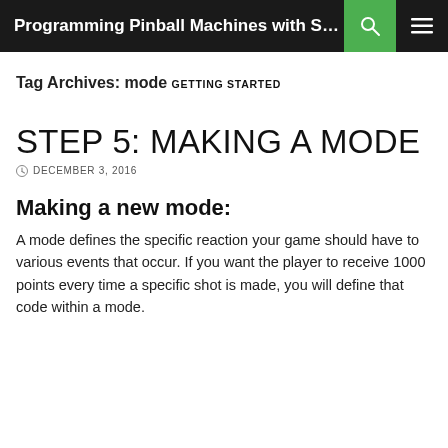Programming Pinball Machines with Skel...
Tag Archives: mode
GETTING STARTED
STEP 5: MAKING A MODE
DECEMBER 3, 2016
Making a new mode:
A mode defines the specific reaction your game should have to various events that occur. If you want the player to receive 1000 points every time a specific shot is made, you will define that code within a mode.